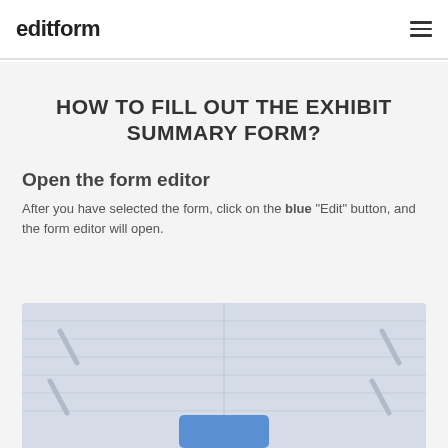editform
HOW TO FILL OUT THE EXHIBIT SUMMARY FORM?
Open the form editor
After you have selected the form, click on the blue "Edit" button, and the form editor will open.
[Figure (screenshot): A screenshot showing a form editor interface with a blue edit button at the bottom center]